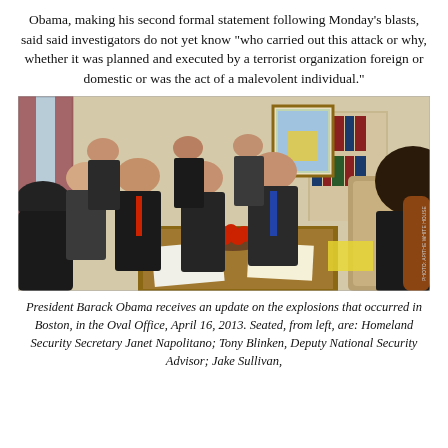Obama, making his second formal statement following Monday's blasts, said said investigators do not yet know "who carried out this attack or why, whether it was planned and executed by a terrorist organization foreign or domestic or was the act of a malevolent individual."
[Figure (photo): President Barack Obama seated in the Oval Office receiving a briefing on the Boston Marathon explosions, April 16, 2013. Multiple advisors and officials are seated around a coffee table with papers and a bowl of fruit. Bookshelves and a painting are visible in the background.]
President Barack Obama receives an update on the explosions that occurred in Boston, in the Oval Office, April 16, 2013. Seated, from left, are: Homeland Security Secretary Janet Napolitano; Tony Blinken, Deputy National Security Advisor; Jake Sullivan,